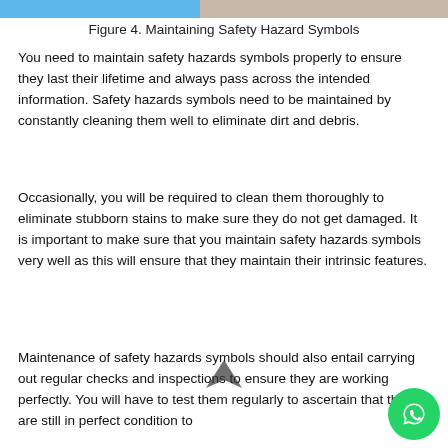[Figure (photo): Top portion of two photos showing people/objects, partially cropped at top of page]
Figure 4. Maintaining Safety Hazard Symbols
You need to maintain safety hazards symbols properly to ensure they last their lifetime and always pass across the intended information. Safety hazards symbols need to be maintained by constantly cleaning them well to eliminate dirt and debris.
Occasionally, you will be required to clean them thoroughly to eliminate stubborn stains to make sure they do not get damaged. It is important to make sure that you maintain safety hazards symbols very well as this will ensure that they maintain their intrinsic features.
Maintenance of safety hazards symbols should also entail carrying out regular checks and inspections to ensure they are working perfectly. You will have to test them regularly to ascertain that they are still in perfect condition to